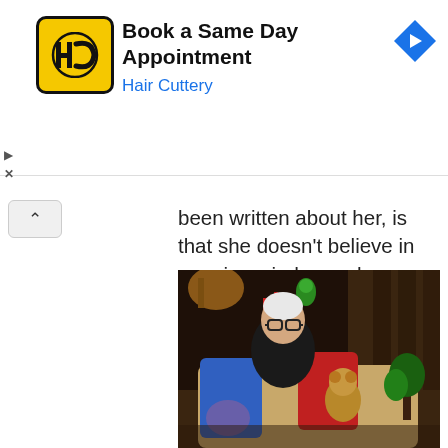[Figure (screenshot): Hair Cuttery advertisement banner with yellow logo showing 'HC', headline 'Book a Same Day Appointment', subtext 'Hair Cuttery' in blue, and a blue diamond navigation arrow on the right]
been written about her, is that she doesn't believe in opening windows; she doesn't want her furnishings to fade and likes keeping her apartment looking as if it is the 'cocktail hour all day long'. Love it!
[Figure (photo): An elderly woman with white/gray short hair and glasses, wearing a dark patterned top, sitting on a couch surrounded by colorful pillows and stuffed animals, in a warmly lit ornate room with plants and candles.]